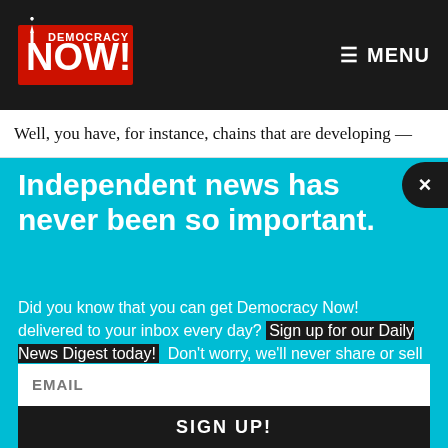Democracy Now! — MENU
Well, you have, for instance, chains that are developing —
Independent news has never been so important.
Did you know that you can get Democracy Now! delivered to your inbox every day? Sign up for our Daily News Digest today! Don't worry, we'll never share or sell your information.
EMAIL
SIGN UP!